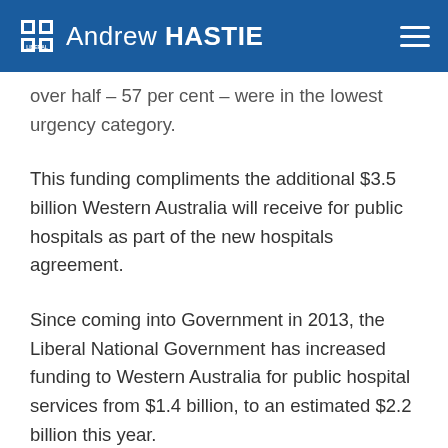Andrew HASTIE
over half – 57 per cent – were in the lowest urgency category.
This funding compliments the additional $3.5 billion Western Australia will receive for public hospitals as part of the new hospitals agreement.
Since coming into Government in 2013, the Liberal National Government has increased funding to Western Australia for public hospital services from $1.4 billion, to an estimated $2.2 billion this year.